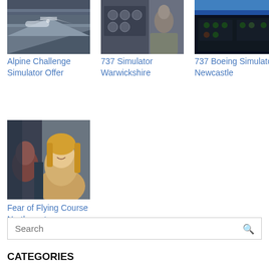[Figure (photo): Airplane flying over mountain peaks in Alpine scenery]
Alpine Challenge Simulator Offer
[Figure (photo): Pilot sitting in a flight simulator cockpit]
737 Simulator Warwickshire
[Figure (photo): 737 Boeing aircraft cockpit view at night]
737 Boeing Simulator Newcastle
[Figure (photo): Woman smiling on an airplane, fear of flying course]
Fear of Flying Course Northampton or Sussex
Search
CATEGORIES